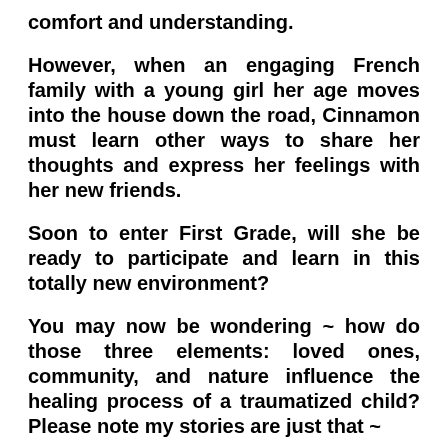comfort and understanding.
However, when an engaging French family with a young girl her age moves into the house down the road, Cinnamon must learn other ways to share her thoughts and express her feelings with her new friends.
Soon to enter First Grade, will she be ready to participate and learn in this totally new environment?
You may now be wondering ~ how do those three elements: loved ones, community, and nature influence the healing process of a traumatized child? Please note my stories are just that ~